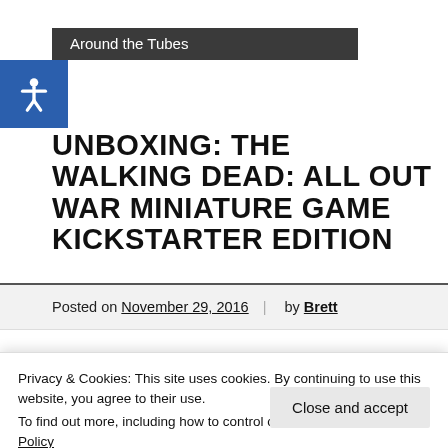Around the Tubes
UNBOXING: THE WALKING DEAD: ALL OUT WAR MINIATURE GAME KICKSTARTER EDITION
Posted on November 29, 2016  |  by Brett
[Figure (screenshot): Video thumbnail showing 'Unboxing: The Walking Dead: All...' with GP logo in white circle on dark background]
Privacy & Cookies: This site uses cookies. By continuing to use this website, you agree to their use.
To find out more, including how to control cookies, see here: Cookie Policy
Close and accept